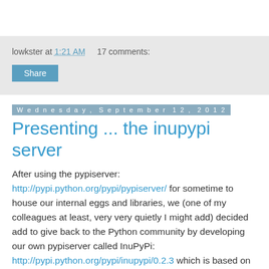lowkster at 1:21 AM    17 comments:
Share
Wednesday, September 12, 2012
Presenting ... the inupypi server
After using the pypiserver: http://pypi.python.org/pypi/pypiserver/ for sometime to house our internal eggs and libraries, we (one of my colleagues at least, very very quietly I might add) decided add to give back to the Python community by developing our own pypiserver called InuPyPi: http://pypi.python.org/pypi/inupypi/0.2.3 which is based on Flask. Some of the features of our pypi server are: